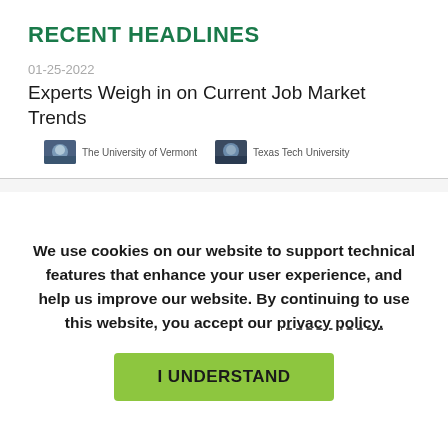RECENT HEADLINES
01-25-2022
Experts Weigh in on Current Job Market Trends
[Figure (photo): Two small profile/institution thumbnails: The University of Vermont and Texas Tech University]
We use cookies on our website to support technical features that enhance your user experience, and help us improve our website. By continuing to use this website, you accept our privacy policy.
I UNDERSTAND